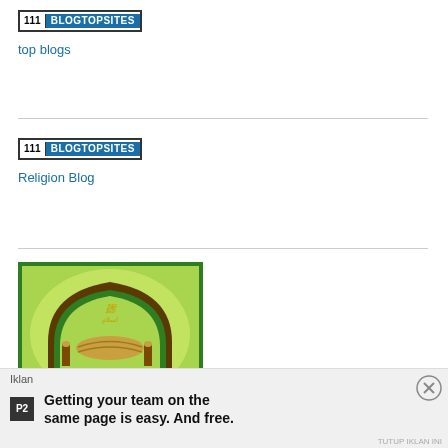[Figure (logo): 111 BLOGTOPSITES badge/logo - white number 111 and blue BLOGTOPSITES text in bordered box]
top blogs
[Figure (logo): 111 BLOGTOPSITES badge/logo - second instance]
Religion Blog
[Figure (illustration): Islamic organization logo: green background with mosque arch shape, handshake and open book illustration, Arabic calligraphy text]
Iklan
Getting your team on the same page is easy. And free.